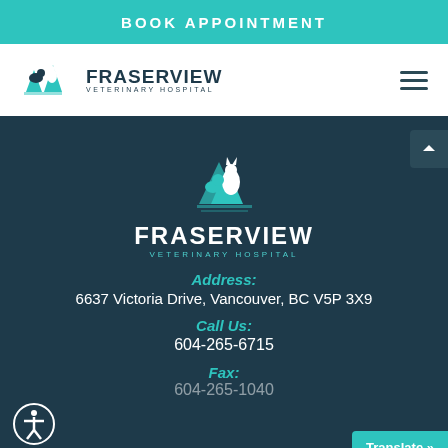BOOK APPOINTMENT
[Figure (logo): Fraserview Veterinary Hospital logo with animals and trees icon in teal/dark navy, with text FRASERVIEW VETERINARY HOSPITAL]
[Figure (logo): Fraserview Veterinary Hospital large white/teal footer logo with cat, dog and trees icon]
Address:
6637 Victoria Drive, Vancouver, BC V5P 3X9
Call Us:
604-265-6715
Fax: